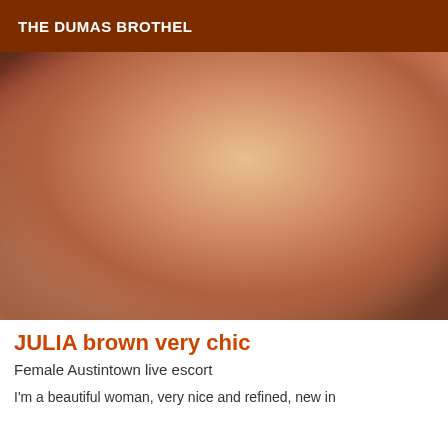THE DUMAS BROTHEL
[Figure (photo): Photo of a woman posing on a bed wearing black high heels]
JULIA brown very chic
Female Austintown live escort
I'm a beautiful woman, very nice and refined, new in